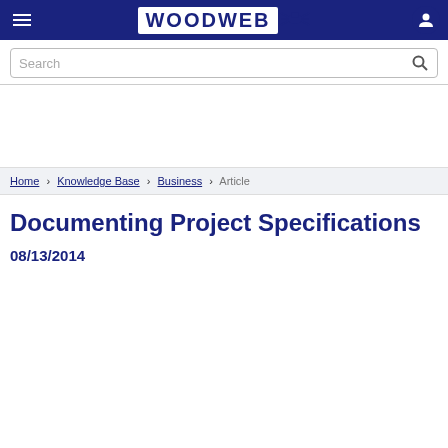WOODWEB
Search
Home › Knowledge Base › Business › Article
Documenting Project Specifications
08/13/2014